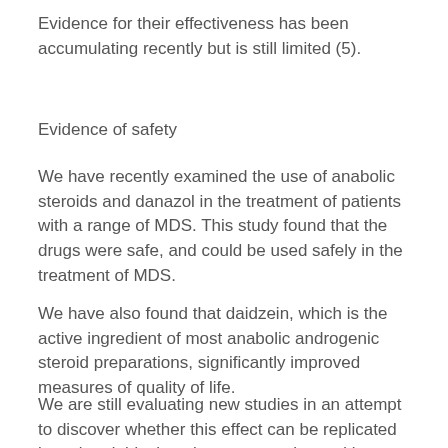Evidence for their effectiveness has been accumulating recently but is still limited (5).
Evidence of safety
We have recently examined the use of anabolic steroids and danazol in the treatment of patients with a range of MDS. This study found that the drugs were safe, and could be used safely in the treatment of MDS.
We have also found that daidzein, which is the active ingredient of most anabolic androgenic steroid preparations, significantly improved measures of quality of life.
We are still evaluating new studies in an attempt to discover whether this effect can be replicated by using daidzein, a less commonly used but effective alternative to